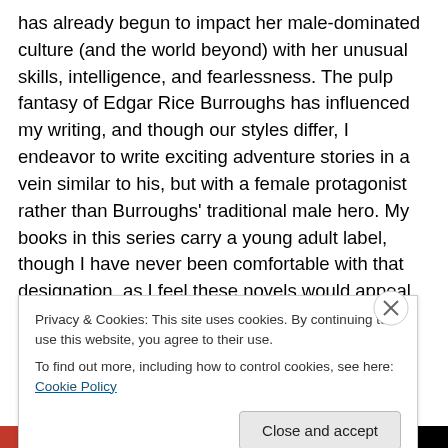has already begun to impact her male-dominated culture (and the world beyond) with her unusual skills, intelligence, and fearlessness. The pulp fantasy of Edgar Rice Burroughs has influenced my writing, and though our styles differ, I endeavor to write exciting adventure stories in a vein similar to his, but with a female protagonist rather than Burroughs' traditional male hero. My books in this series carry a young adult label, though I have never been comfortable with that designation, as I feel these novels would appeal to a broad range of readers, as did those of Burroughs.
Privacy & Cookies: This site uses cookies. By continuing to use this website, you agree to their use.
To find out more, including how to control cookies, see here: Cookie Policy